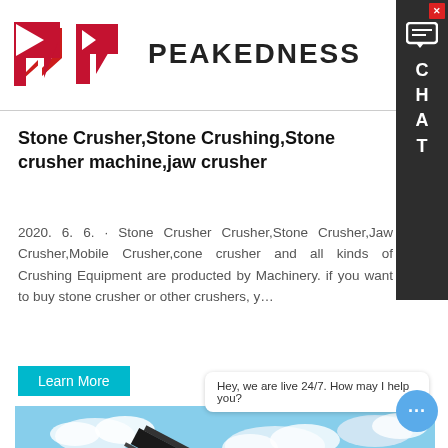PEAKEDNESS
Stone Crusher,Stone Crushing,Stone crusher machine,jaw crusher
2020. 6. 6. · Stone Crusher Crusher,Stone Crusher,Jaw Crusher,Mobile Crusher,cone crusher and all kinds of Crushing Equipment are producted by Machinery. if you want to buy stone crusher or other crushers, y…
Learn More
[Figure (photo): Stone crushing machinery at a quarry site with a conveyor belt dropping crushed stone onto a large pile, blue sky with clouds in background]
Hey, we are live 24/7. How may I help you?